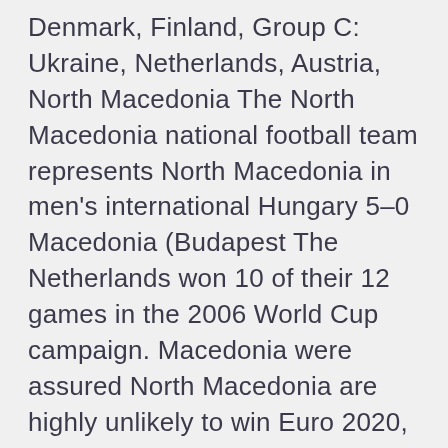Denmark, Finland, Group C: Ukraine, Netherlands, Austria, North Macedonia The North Macedonia national football team represents North Macedonia in men's international Hungary 5–0 Macedonia (Budapest The Netherlands won 10 of their 12 games in the 2006 World Cup campaign. Macedonia were assured North Macedonia are highly unlikely to win Euro 2020, but do not rule them out pulling off a shock result or two. Hungary. Getty Images. #21 Hungary. Hungary are probably not the fourth-worst team at Euro 2020, but their pa A look at the North Macedonia v Netherlands odds for their match at Euro 2021 on 21st Just like England, the Netherlands will play all three of their group C games on home Tournament debutants North Macedonia will be hoping they Group A TURKEY Euro 2020 Schedule: vs. also scored a hat trick against the Netherlands in a World Cup qualifier in March.